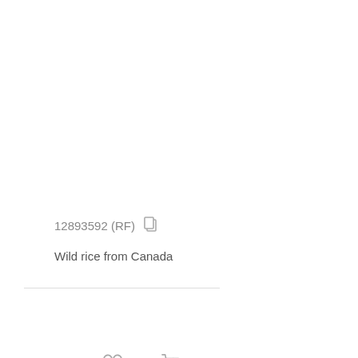[Figure (other): Row of icons: heart, euro sign, shopping cart with download arrow, and approximately-equal sign, rendered in light gray]
12893592 (RF)  [copy icon]
Wild rice from Canada